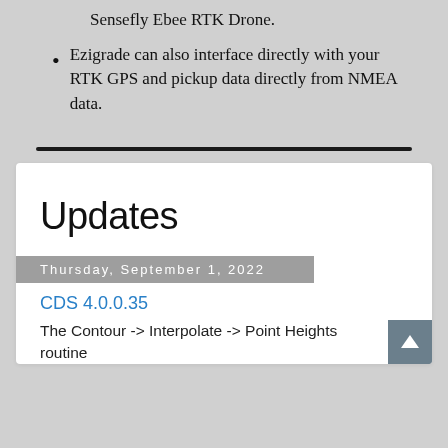Sensefly Ebee RTK Drone.
Ezigrade can also interface directly with your RTK GPS and pickup data directly from NMEA data.
Updates
Thursday, September 1, 2022
CDS 4.0.0.35
The Contour -> Interpolate -> Point Heights routine